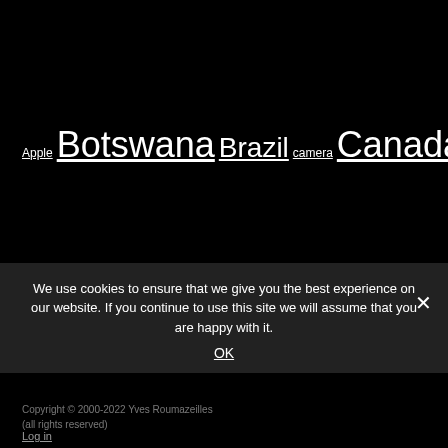Apple Botswana Brazil camera Canada Canon car Cheetah Costa Rica download eagle elephant Falkland Islands FPS free free download full-frame fun Google Hokkaido India Japan Leopard Linux Lion Nepal Ngorongoro Nikon Nunavut Optical illusion Photo polar bear Scotland Serengeti Sony South Africa Tanzania Tiger Vexin video video game voyage Whale Windows WordPress
We use cookies to ensure that we give you the best experience on our website. If you continue to use this site we will assume that you are happy with it. OK
Copyright © 2000-2022 Yves Roumazeilles (all rights reserved)
Log in